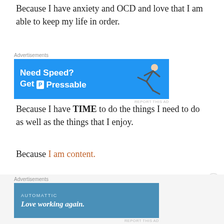Because I have anxiety and OCD and love that I am able to keep my life in order.
[Figure (other): Blue advertisement banner: 'Need Speed? Get Pressable' with a person diving/flying graphic]
Because I have TIME to do the things I need to do as well as the things that I enjoy.
Because I am content.
BECAUSE MY DREAM WAS ALWAYS TO BE A MOMMY, AND NOW THAT I AM ONE I DON'T WANT TO LOSE A SINGLE MOMENT OF IT.
[Figure (other): Blue Automattic advertisement: 'Love working again.']